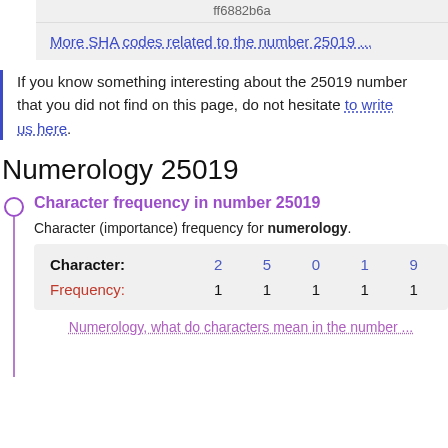ff6882b6a
More SHA codes related to the number 25019 ...
If you know something interesting about the 25019 number that you did not find on this page, do not hesitate to write us here.
Numerology 25019
Character frequency in number 25019
Character (importance) frequency for numerology.
| Character: | 2 | 5 | 0 | 1 | 9 |
| --- | --- | --- | --- | --- | --- |
| Frequency: | 1 | 1 | 1 | 1 | 1 |
Numerology, what do characters mean in the number ...